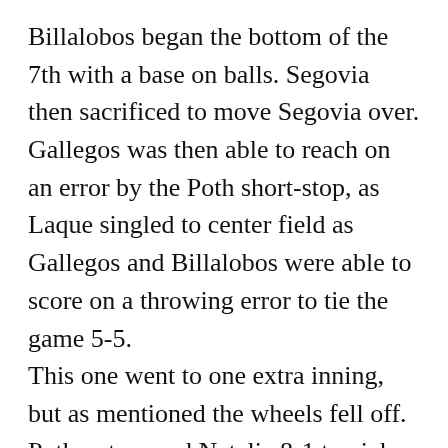Billalobos began the bottom of the 7th with a base on balls. Segovia then sacrificed to move Segovia over. Gallegos was then able to reach on an error by the Poth short-stop, as Laque singled to center field as Gallegos and Billalobos were able to score on a throwing error to tie the game 5-5. This one went to one extra inning, but as mentioned the wheels fell off. Poth out-scored Natalia 8-1 to pick up the 13-6 victory. Billalobos took the loss on the mound for Natalia as she pitched 8.0, allowed seventeen hits, thirteen runs in which only five were earned, struck out one and walked two. Alvarado and Laque led the offense with two hits each, as Billalobos, Gallegos added one